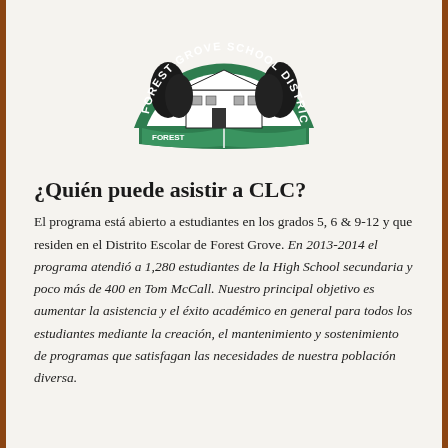[Figure (logo): Forest Grove School District semicircular logo with trees and school building on an open book, green arch with white text]
¿Quién puede asistir a CLC?
El programa está abierto a estudiantes en los grados 5, 6 & 9-12 y que residen en el Distrito Escolar de Forest Grove. En 2013-2014 el programa atendió a 1,280 estudiantes de la High School secundaria y poco más de 400 en Tom McCall. Nuestro principal objetivo es aumentar la asistencia y el éxito académico en general para todos los estudiantes mediante la creación, el mantenimiento y sostenimiento de programas que satisfagan las necesidades de nuestra población diversa.